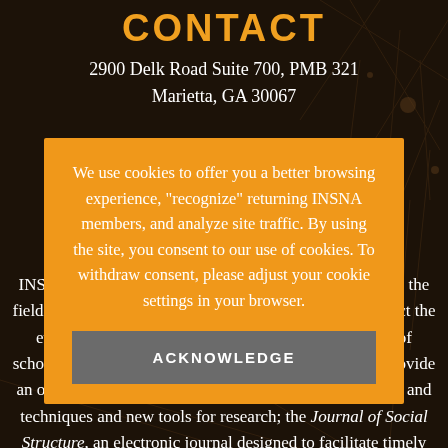CONTACT
2900 Delk Road Suite 700, PMB 321
Marietta, GA 30067
We use cookies to offer you a better browsing experience, "recognize" returning INSNA members, and analyze site traffic. By using the site, you consent to our use of cookies. To withdraw consent, please adjust your cookie settings in your browser.
ACKNOWLEDGE
INSNA publishes or supports several key publications in the field, including: Connections, whose emphasis is to reflect the ever-growing and continually expanding community of scholars using network analytic techniques, as well as provide an outlet for sharing news about social network concepts and techniques and new tools for research; the Journal of Social Structure, an electronic journal designed to facilitate timely